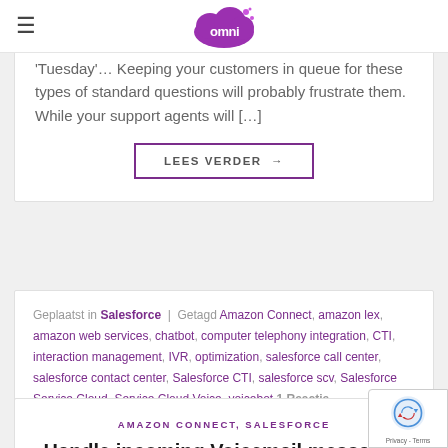[Figure (logo): Omni purple cloud logo with 'omni' text]
'Tuesday'… Keeping your customers in queue for these types of standard questions will probably frustrate them. While your support agents will […]
LEES VERDER →
Geplaatst in Salesforce | Getagd Amazon Connect, amazon lex, amazon web services, chatbot, computer telephony integration, CTI, interaction management, IVR, optimization, salesforce call center, salesforce contact center, Salesforce CTI, salesforce scv, Salesforce Service Cloud, Service Cloud Voice, voicebot 1 Reactie
AMAZON CONNECT, SALESFORCE
Handle incoming Voicemail messages from within Salesforce
POSTED ON 1 MAART, 2021 BY CLAESNI